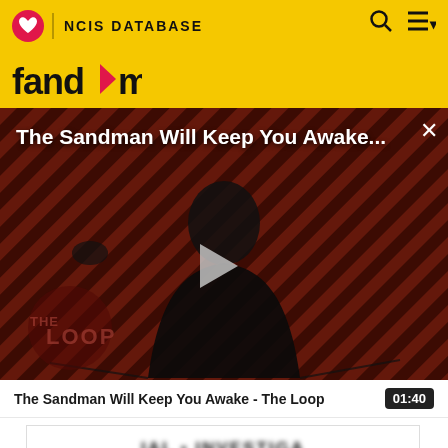NCIS DATABASE
[Figure (screenshot): Video player showing 'The Sandman Will Keep You Awake...' with a dark-robed figure against diagonal red/brown striped background. Play button visible in center. THE LOOP watermark in lower left. Close X button top right.]
The Sandman Will Keep You Awake - The Loop
01:40
IAL • INVESTIGA
SEASON:
EPISODE: